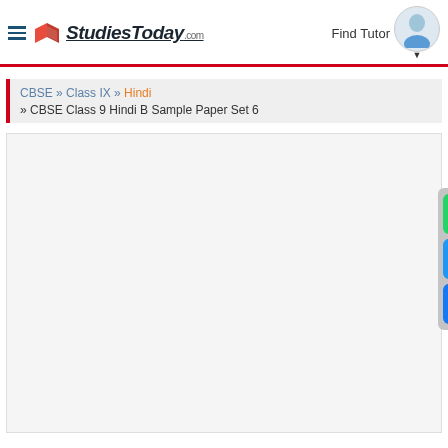StudiesToday.com | Find Tutor
CBSE » Class IX » Hindi » CBSE Class 9 Hindi B Sample Paper Set 6
[Figure (screenshot): Empty content/advertisement area on StudiesToday.com page]
[Figure (infographic): Social sharing sidebar with WhatsApp, Email, and Facebook buttons]